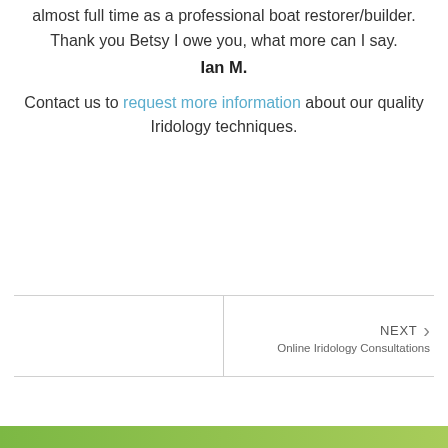almost full time as a professional boat restorer/builder. Thank you Betsy I owe you, what more can I say.
Ian M.
Contact us to request more information about our quality Iridology techniques.
NEXT Online Iridology Consultations